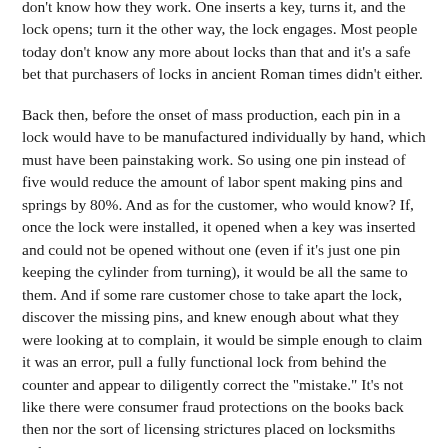don't know how they work. One inserts a key, turns it, and the lock opens; turn it the other way, the lock engages. Most people today don't know any more about locks than that and it's a safe bet that purchasers of locks in ancient Roman times didn't either.
Back then, before the onset of mass production, each pin in a lock would have to be manufactured individually by hand, which must have been painstaking work. So using one pin instead of five would reduce the amount of labor spent making pins and springs by 80%. And as for the customer, who would know? If, once the lock were installed, it opened when a key was inserted and could not be opened without one (even if it's just one pin keeping the cylinder from turning), it would be all the same to them. And if some rare customer chose to take apart the lock, discover the missing pins, and knew enough about what they were looking at to complain, it would be simple enough to claim it was an error, pull a fully functional lock from behind the counter and appear to diligently correct the "mistake." It's not like there were consumer fraud protections on the books back then nor the sort of licensing strictures placed on locksmiths today.